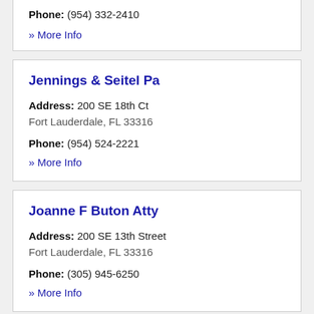Phone: (954) 332-2410
» More Info
Jennings & Seitel Pa
Address: 200 SE 18th Ct
Fort Lauderdale, FL 33316
Phone: (954) 524-2221
» More Info
Joanne F Buton Atty
Address: 200 SE 13th Street
Fort Lauderdale, FL 33316
Phone: (305) 945-6250
» More Info